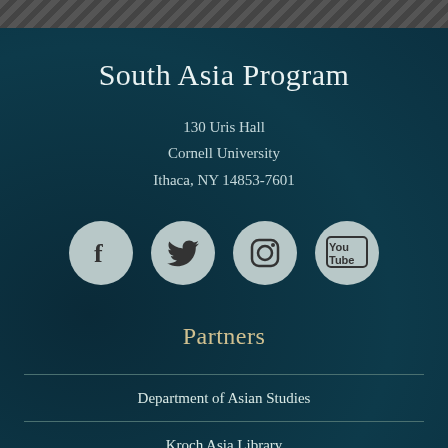South Asia Program
130 Uris Hall
Cornell University
Ithaca, NY 14853-7601
[Figure (infographic): Four social media icons in light gray circles: Facebook, Twitter, Instagram, YouTube]
Partners
Department of Asian Studies
Kroch Asia Library